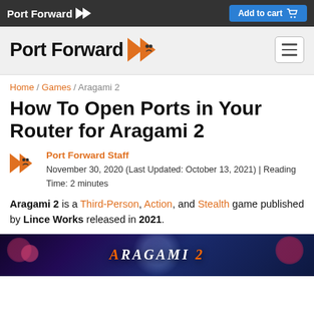Port Forward | Add to cart
[Figure (logo): Port Forward logo with orange chevron arrow icon and hamburger menu button]
Home / Games / Aragami 2
How To Open Ports in Your Router for Aragami 2
Port Forward Staff
November 30, 2020 (Last Updated: October 13, 2021) | Reading Time: 2 minutes
Aragami 2 is a Third-Person, Action, and Stealth game published by Lince Works released in 2021.
[Figure (photo): Aragami 2 game banner/screenshot with dark purple background and stylized logo text]